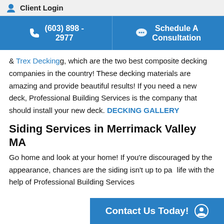Client Login
(603) 898 - 2977
Schedule A Consultation
& Trex Decking, which are the two best composite decking companies in the country! These decking materials are amazing and provide beautiful results! If you need a new deck, Professional Building Services is the company that should install your new deck. DECKING GALLERY
Siding Services in Merrimack Valley MA
Go home and look at your home! If you're discouraged by the appearance, chances are the siding isn't up to par. Bring your home back to life with the help of Professional Building Services
Contact Us Today!